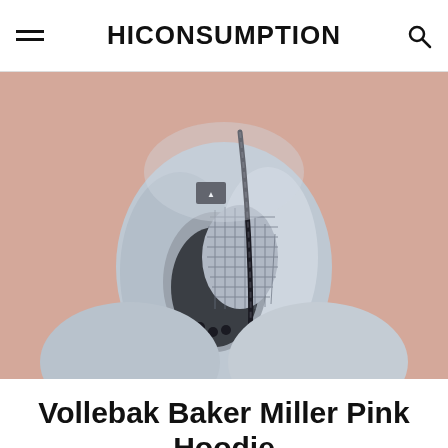HICONSUMPTION
[Figure (photo): A person wearing a futuristic white Vollebak Baker Miller Pink Hoodie with a full-face hood and mesh ventilation panel, photographed against a pink background.]
Vollebak Baker Miller Pink Hoodie